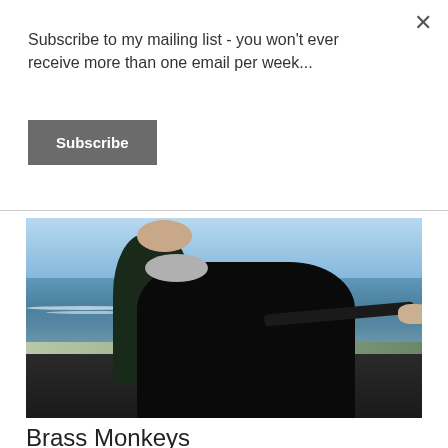Subscribe to my mailing list - you won't ever receive more than one email per week...
Subscribe
[Figure (photo): Two people standing outdoors near a coastal beach scene. An older woman with grey hair points toward the right, and a taller man stands behind her smiling. The background shows a blue sky and ocean waves.]
Brass Monkeys